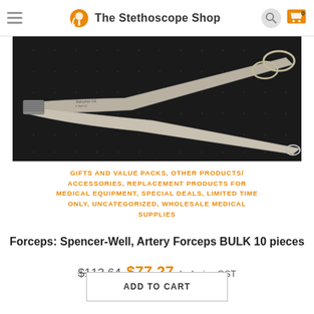The Stethoscope Shop
[Figure (photo): Photograph of Spencer-Well Artery Forceps surgical instrument on dark background]
GIFTS AND VALUE PACKS, OTHER PRODUCTS/ACCESSORIES, REPLACEMENT PRODUCTS FOR MEDICAL EQUIPMENT, SPECIAL DEALS, LIMITED TIME ONLY, UNCATEGORIZED, WHOLESALE MEDICAL SUPPLIES
Forceps: Spencer-Well, Artery Forceps BULK 10 pieces
$113.64 $77.27 Inclusive GST
ADD TO CART